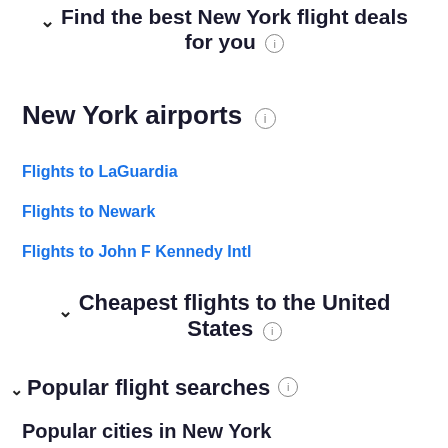Find the best New York flight deals for you
New York airports
Flights to LaGuardia
Flights to Newark
Flights to John F Kennedy Intl
Cheapest flights to the United States
Popular flight searches
Popular cities in New York